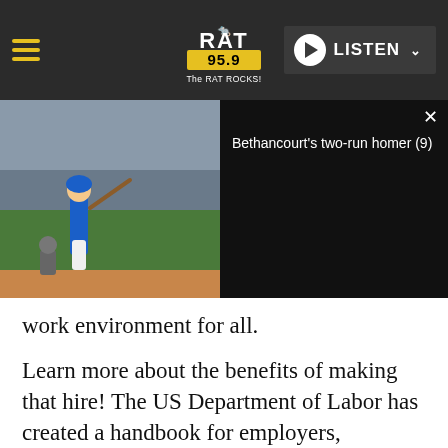RAT 95.9 The RAT ROCKS! — navigation bar with hamburger menu and LISTEN button
[Figure (screenshot): Baseball game video thumbnail showing a player at bat with stadium crowd in background, overlaid with a video panel showing 'Bethancourt's two-run homer (9)' title on dark background with a close (X) button]
work environment for all.
Learn more about the benefits of making that hire! The US Department of Labor has created a handbook for employers, BUSINESS STRATEGIES THAT WORK: A FRAMEWORK FOR DISABILITY INCLUSION ( https://www.dol.gov/odep/pdf/BusinessStrategiesThatWork.pdf ) that details the best